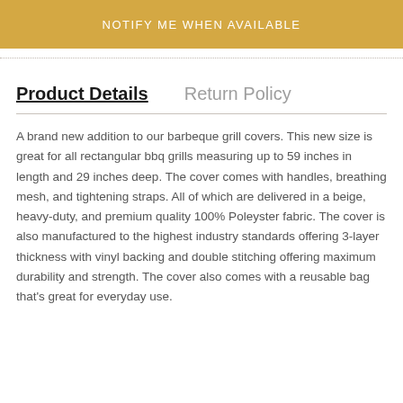[Figure (other): Gold/amber colored button with text NOTIFY ME WHEN AVAILABLE in white capital letters]
Product Details    Return Policy
A brand new addition to our barbeque grill covers. This new size is great for all rectangular bbq grills measuring up to 59 inches in length and 29 inches deep. The cover comes with handles, breathing mesh, and tightening straps. All of which are delivered in a beige, heavy-duty, and premium quality 100% Poleyster fabric. The cover is also manufactured to the highest industry standards offering 3-layer thickness with vinyl backing and double stitching offering maximum durability and strength. The cover also comes with a reusable bag that's great for everyday use.